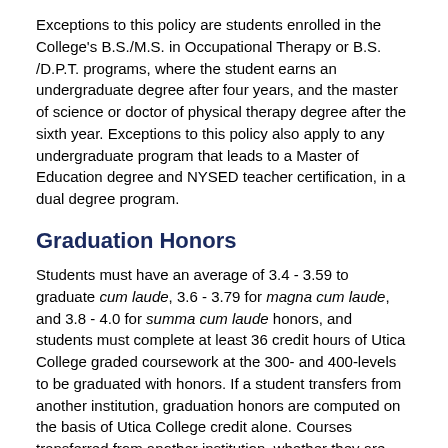Exceptions to this policy are students enrolled in the College's B.S./M.S. in Occupational Therapy or B.S. /D.P.T. programs, where the student earns an undergraduate degree after four years, and the master of science or doctor of physical therapy degree after the sixth year. Exceptions to this policy also apply to any undergraduate program that leads to a Master of Education degree and NYSED teacher certification, in a dual degree program.
Graduation Honors
Students must have an average of 3.4 - 3.59 to graduate cum laude, 3.6 - 3.79 for magna cum laude, and 3.8 - 4.0 for summa cum laude honors, and students must complete at least 36 credit hours of Utica College graded coursework at the 300- and 400-levels to be graduated with honors. If a student transfers from another institution, graduation honors are computed on the basis of Utica College credit alone. Courses transferred from another institution, whether they are taken prior to admission or while a student is at Utica College, satisfy graduation requirements but are excluded from calculations of cumulative or program-specific grade-point average. At least 60 hours must have been taken in Utica College courses through the spring term immediately preceding the commencement ceremony in which they participate.